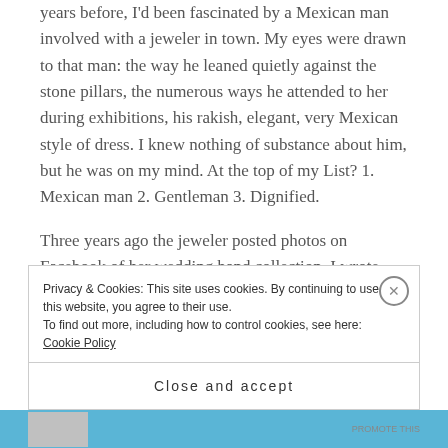years before, I'd been fascinated by a Mexican man involved with a jeweler in town. My eyes were drawn to that man: the way he leaned quietly against the stone pillars, the numerous ways he attended to her during exhibitions, his rakish, elegant, very Mexican style of dress. I knew nothing of substance about him, but he was on my mind. At the top of my List? 1. Mexican man 2. Gentleman 3. Dignified.
Three years ago the jeweler posted photos on Facebook of her wedding band collection. I wrote, "After 15 years of single San Miguel living, I'm ready to
Privacy & Cookies: This site uses cookies. By continuing to use this website, you agree to their use.
To find out more, including how to control cookies, see here: Cookie Policy
Close and accept